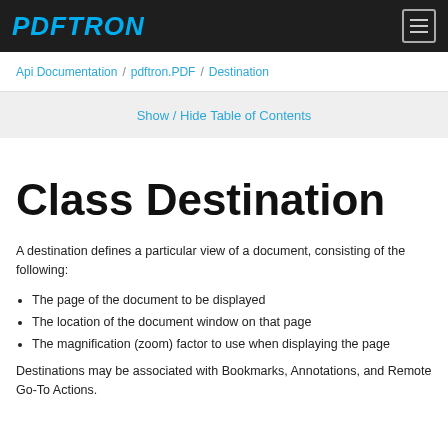PDFTRON
Api Documentation / pdftron.PDF / Destination
Show / Hide Table of Contents
Class Destination
A destination defines a particular view of a document, consisting of the following:
The page of the document to be displayed
The location of the document window on that page
The magnification (zoom) factor to use when displaying the page
Destinations may be associated with Bookmarks, Annotations, and Remote Go-To Actions.